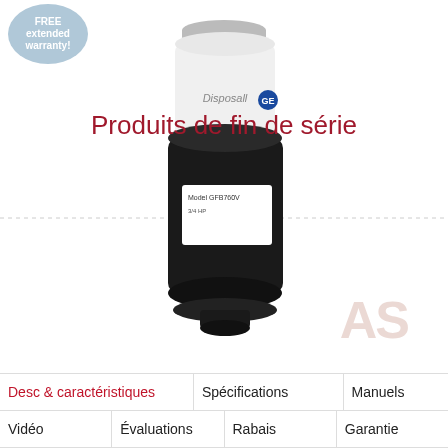[Figure (photo): GE Disposall garbage disposal unit, Model GFB760V, black and white cylindrical unit on white background]
FREE extended warranty!
Produits de fin de série
| Desc & caractéristiques | Spécifications | Manuels |
| --- | --- | --- |
| Vidéo | Évaluations | Rabais | Garantie |